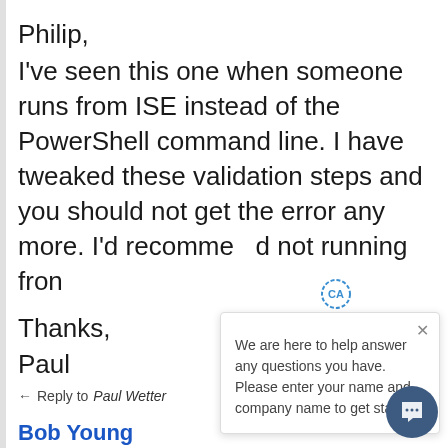Philip,
I've seen this one when someone runs from ISE instead of the PowerShell command line. I have tweaked these validation steps and you should not get the error any more. I'd recommend not running from
Thanks,
Paul
[Figure (other): Chat popup with 'CA' badge icon and close button. Text reads: 'We are here to help answer any questions you have. Please enter your name and company name to get started.']
← Reply to Paul Wetter
Bob Young